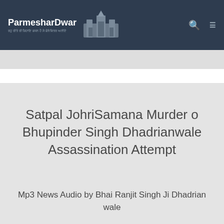ParmesharDwar
Satpal JohriSamana Murder o Bhupinder Singh Dhadrianwale Assassination Attempt
Mp3 News Audio by Bhai Ranjit Singh Ji Dhadrian wale